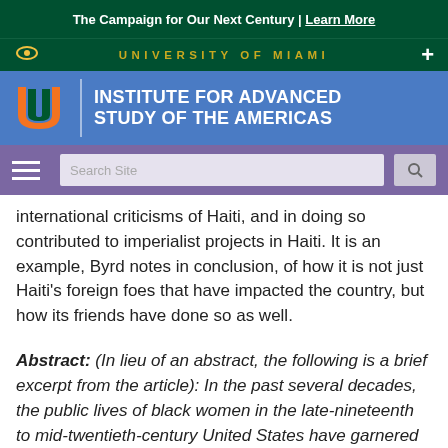The Campaign for Our Next Century | Learn More
UNIVERSITY OF MIAMI
[Figure (logo): University of Miami Institute for Advanced Study of the Americas header with UM logo and blue background]
international criticisms of Haiti, and in doing so contributed to imperialist projects in Haiti. It is an example, Byrd notes in conclusion, of how it is not just Haiti's foreign foes that have impacted the country, but how its friends have done so as well.
Abstract: (In lieu of an abstract, the following is a brief excerpt from the article): In the past several decades, the public lives of black women in the late-nineteenth to mid-twentieth-century United States have garnered